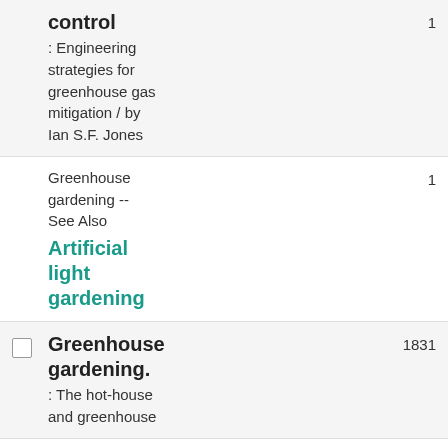control : Engineering strategies for greenhouse gas mitigation / by Ian S.F. Jones
Greenhouse gardening -- See Also Artificial light gardening
Greenhouse gardening. : The hot-house and greenhouse